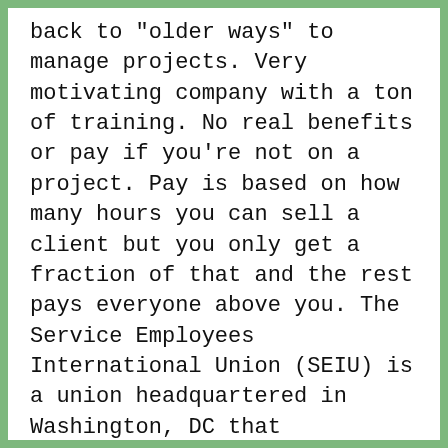back to "older ways" to manage projects. Very motivating company with a ton of training. No real benefits or pay if you're not on a project. Pay is based on how many hours you can sell a client but you only get a fraction of that and the rest pays everyone above you. The Service Employees International Union (SEIU) is a union headquartered in Washington, DC that represents, for example, janitors and nursing home workers. Technology still behind and unable to meet demand/workforce load. Everything is on your dime and your prospect contacts are given to your co workers to pursue. And Who Decides the Fate of UHW? ), 7 of the Best Situational Interview Questions. Are you sure you want to remove this review from being featured for targeted profile? Step right up for the dog and pony show, seen daily at small businesses across the USA. Many of